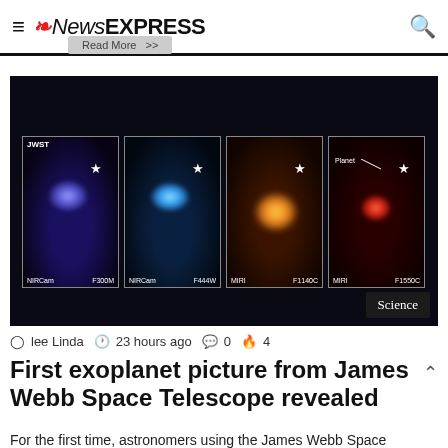NewsEXPRESS
[Figure (photo): Four-panel JWST image of an exoplanet system showing NIRCam F300M (blue/purple), NIRCam F444W (blue), MIRI F1140C (orange), and MIRI F1550C (red) views, with star markers and planet label. Science badge in lower right.]
lee Linda  23 hours ago  0  4
First exoplanet picture from James Webb Space Telescope revealed
For the first time, astronomers using the James Webb Space